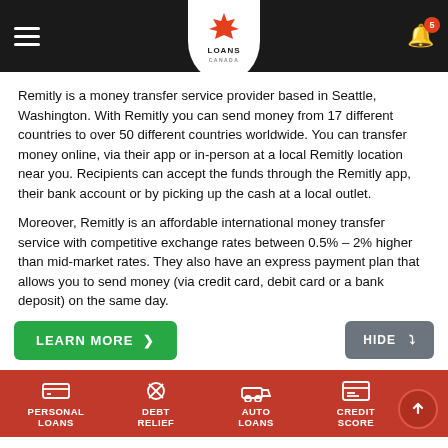[Figure (screenshot): Loans Canada mobile app navigation bar with hamburger menu, maple leaf logo, and notification bell with badge showing 5]
Remitly is a money transfer service provider based in Seattle, Washington. With Remitly you can send money from 17 different countries to over 50 different countries worldwide. You can transfer money online, via their app or in-person at a local Remitly location near you. Recipients can accept the funds through the Remitly app, their bank account or by picking up the cash at a local outlet.
Moreover, Remitly is an affordable international money transfer service with competitive exchange rates between 0.5% – 2% higher than mid-market rates. They also have an express payment plan that allows you to send money (via credit card, debit card or a bank deposit) on the same day.
[Figure (screenshot): Green LEARN MORE button with arrow and grey HIDE button with chevron]
[Figure (screenshot): Red bottom navigation bar with icons and labels: PERSONAL LOANS, DEBT RELIEF, AUTO LOANS, CREDIT SCORE, and a scroll-to-top button]